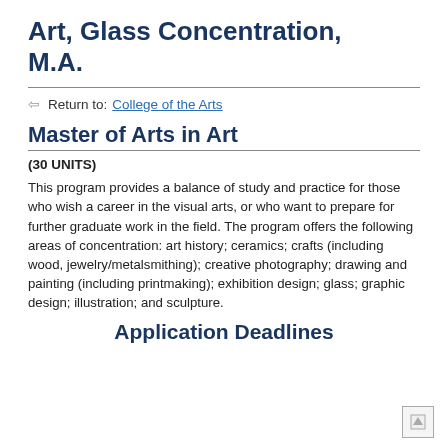Art, Glass Concentration, M.A.
Return to: College of the Arts
Master of Arts in Art
(30 UNITS)
This program provides a balance of study and practice for those who wish a career in the visual arts, or who want to prepare for further graduate work in the field. The program offers the following areas of concentration: art history; ceramics; crafts (including wood, jewelry/metalsmithing); creative photography; drawing and painting (including printmaking); exhibition design; glass; graphic design; illustration; and sculpture.
Application Deadlines